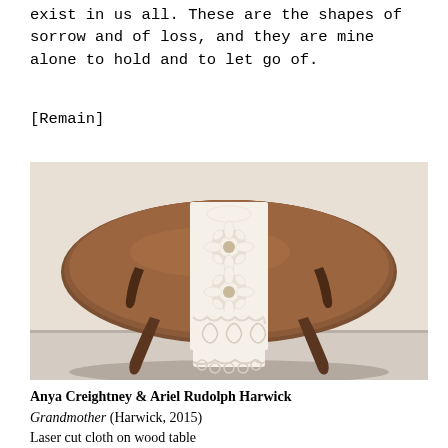exist in us all. These are the shapes of sorrow and of loss, and they are mine alone to hold and to let go of.
[Remain]
[Figure (photo): A round dark wood table with an intricate white laser-cut cloth table runner draped over it, photographed against a neutral beige/white wall background.]
Anya Creightney & Ariel Rudolph Harwick
Grandmother (Harwick, 2015)
Laser cut cloth on wood table